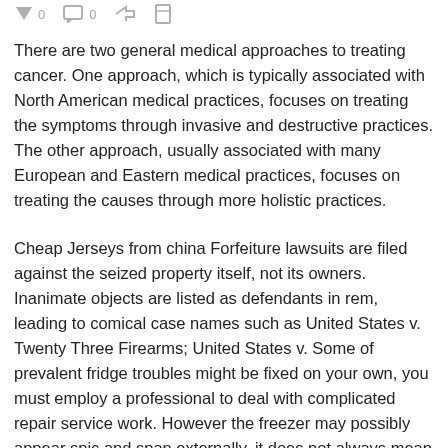[social interaction icons]
There are two general medical approaches to treating cancer. One approach, which is typically associated with North American medical practices, focuses on treating the symptoms through invasive and destructive practices. The other approach, usually associated with many European and Eastern medical practices, focuses on treating the causes through more holistic practices.
Cheap Jerseys from china Forfeiture lawsuits are filed against the seized property itself, not its owners. Inanimate objects are listed as defendants in rem, leading to comical case names such as United States v. Twenty Three Firearms; United States v. Some of prevalent fridge troubles might be fixed on your own, you must employ a professional to deal with complicated repair service work. However the freezer may possibly appear spic and span externally, it does not always mean cheap nfl jerseys how the equipment is running effortlessly out of the inside of. Incessant phone calls to your lots and repairman of anxious occasions comply with, until you at last buy it reconditioned